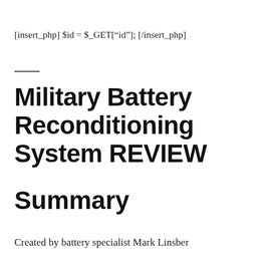[insert_php] $id = $_GET["id"]; [/insert_php]
Military Battery Reconditioning System REVIEW
Summary
Created by battery specialist Mark Linsber